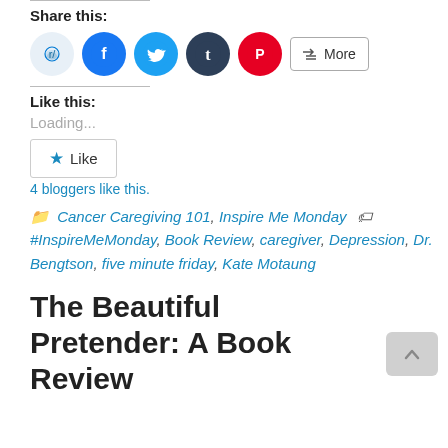Share this:
[Figure (infographic): Social share icons: Reddit (light blue circle), Facebook (blue circle), Twitter (cyan circle), Tumblr (dark blue circle), Pinterest (red circle), and a More button with share icon]
Like this:
Loading...
[Figure (infographic): Like button with star icon]
4 bloggers like this.
Cancer Caregiving 101, Inspire Me Monday   #InspireMeMonday, Book Review, caregiver, Depression, Dr. Bengtson, five minute friday, Kate Motaung
The Beautiful Pretender: A Book Review